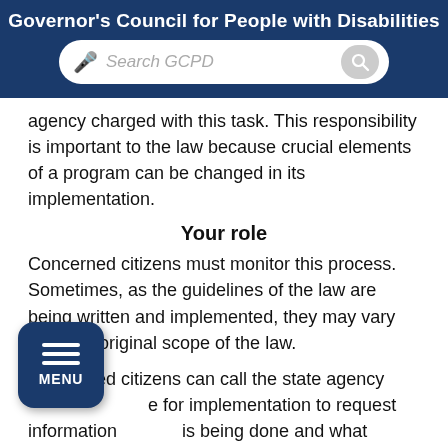Governor's Council for People with Disabilities
agency charged with this task. This responsibility is important to the law because crucial elements of a program can be changed in its implementation.
Your role
Concerned citizens must monitor this process. Sometimes, as the guidelines of the law are being written and implemented, they may vary from the original scope of the law.
Concerned citizens can call the state agency for implementation to request information is being done and what opportunities for public input.
Implementation